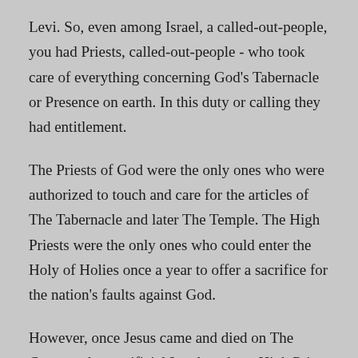Levi. So, even among Israel, a called-out-people, you had Priests, called-out-people - who took care of everything concerning God's Tabernacle or Presence on earth. In this duty or calling they had entitlement.
The Priests of God were the only ones who were authorized to touch and care for the articles of The Tabernacle and later The Temple. The High Priests were the only ones who could enter the Holy of Holies once a year to offer a sacrifice for the nation's faults against God.
However, once Jesus came and died on The Cross as the sacrificial Lamb and our High Priest rolled into one - His blood and resurrection atoned for not only